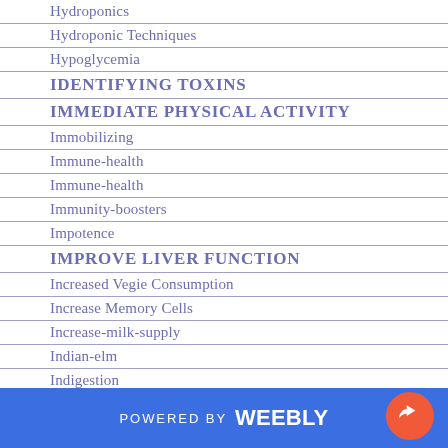Hydroponics
Hydroponic Techniques
Hypoglycemia
IDENTIFYING TOXINS
IMMEDIATE PHYSICAL ACTIVITY
Immobilizing
Immune-health
Immune-health
Immunity-boosters
Impotence
IMPROVE LIVER FUNCTION
Increased Vegie Consumption
Increase Memory Cells
Increase-milk-supply
Indian-elm
Indigestion
POWERED BY weebly